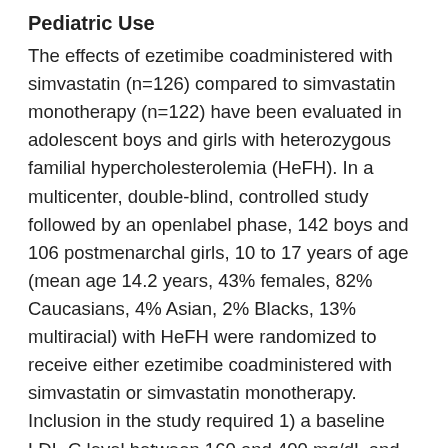Pediatric Use
The effects of ezetimibe coadministered with simvastatin (n=126) compared to simvastatin monotherapy (n=122) have been evaluated in adolescent boys and girls with heterozygous familial hypercholesterolemia (HeFH). In a multicenter, double-blind, controlled study followed by an openlabel phase, 142 boys and 106 postmenarchal girls, 10 to 17 years of age (mean age 14.2 years, 43% females, 82% Caucasians, 4% Asian, 2% Blacks, 13% multiracial) with HeFH were randomized to receive either ezetimibe coadministered with simvastatin or simvastatin monotherapy. Inclusion in the study required 1) a baseline LDL-C level between 160 and 400 mg/dL and 2) a medical history and clinical presentation